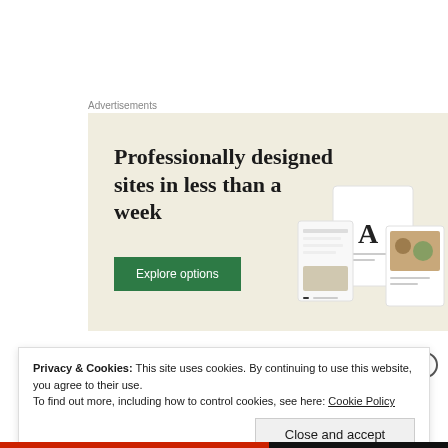Advertisements
[Figure (illustration): Advertisement banner with beige background showing text 'Professionally designed sites in less than a week' with a green 'Explore options' button and decorative website mockup screenshots on the right side.]
Privacy & Cookies: This site uses cookies. By continuing to use this website, you agree to their use.
To find out more, including how to control cookies, see here: Cookie Policy